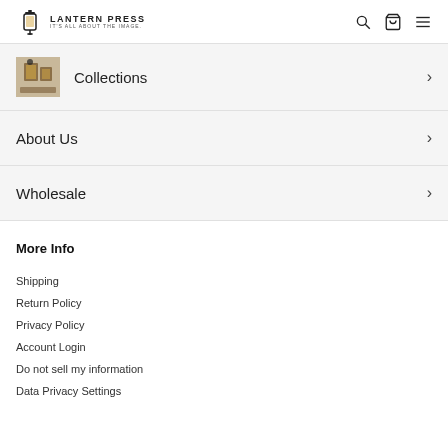LANTERN PRESS IT'S ALL ABOUT THE IMAGE.
Collections
About Us
Wholesale
More Info
Shipping
Return Policy
Privacy Policy
Account Login
Do not sell my information
Data Privacy Settings